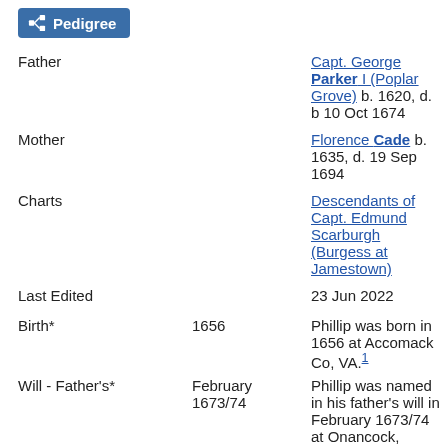Pedigree
| Label | Date | Description |
| --- | --- | --- |
| Father |  | Capt. George Parker I (Poplar Grove) b. 1620, d. b 10 Oct 1674 |
| Mother |  | Florence Cade b. 1635, d. 19 Sep 1694 |
| Charts |  | Descendants of Capt. Edmund Scarburgh (Burgess at Jamestown) |
| Last Edited |  | 23 Jun 2022 |
| Birth* | 1656 | Phillip was born in 1656 at Accomack Co, VA.1 |
| Will - Father's* | February 1673/74 | Phillip was named in his father's will in February 1673/74 at Onancock, Accomack Co, VA. In his will George Parker gave to |